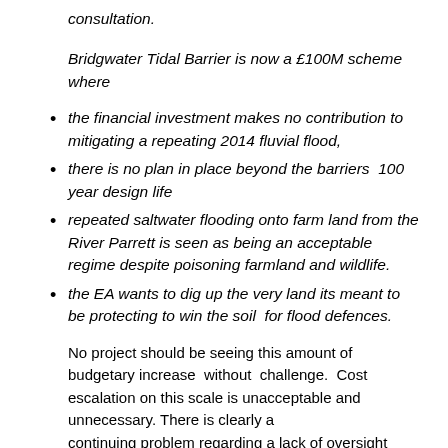consultation.
Bridgwater Tidal Barrier is now a £100M scheme where
the financial investment makes no contribution to mitigating a repeating 2014 fluvial flood,
there is no plan in place beyond the barriers  100 year design life
repeated saltwater flooding onto farm land from the River Parrett is seen as being an acceptable regime despite poisoning farmland and wildlife.
the EA wants to dig up the very land its meant to be protecting to win the soil  for flood defences.
No project should be seeing this amount of budgetary increase  without  challenge.  Cost escalation on this scale is unacceptable and unnecessary. There is clearly a continuing problem regarding a lack of oversight both